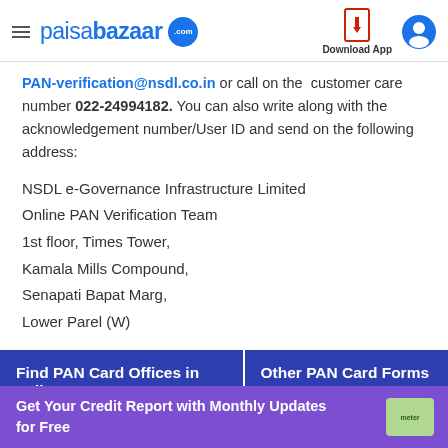paisabazaar.com — Download App
PAN-verification@nsdl.co.in or call on the customer care number 022-24994182. You can also write along with the acknowledgement number/User ID and send on the following address:
NSDL e-Governance Infrastructure Limited
Online PAN Verification Team
1st floor, Times Tower,
Kamala Mills Compound,
Senapati Bapat Marg,
Lower Parel (W)
| Find PAN Card Offices in India 2020 | Other PAN Card Forms |
| --- | --- |
|  |
Get Your Credit Report with Monthly Updates for Free